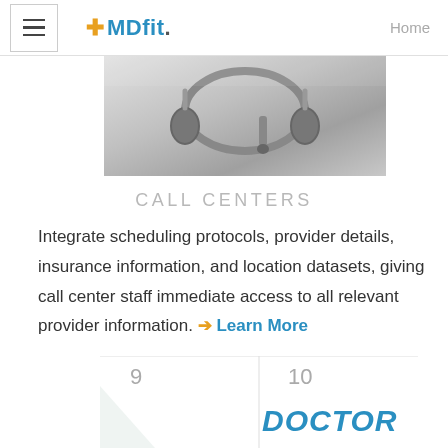MDfit  Home
[Figure (photo): A headset/headphones on a metallic surface, representing call center equipment]
CALL CENTERS
Integrate scheduling protocols, provider details, insurance information, and location datasets, giving call center staff immediate access to all relevant provider information. ➔ Learn More
[Figure (photo): A calendar showing days 9 and 10, with 'DOCTOR' written in blue handwritten text on day 10]